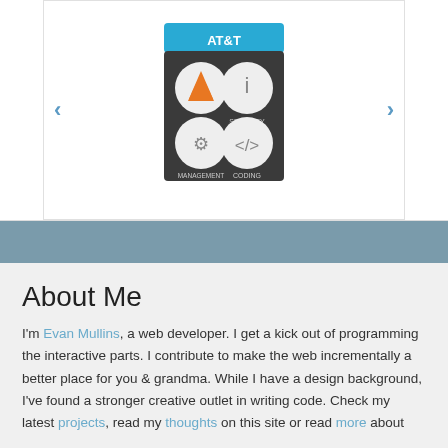[Figure (photo): A blue cube labeled 'AT&T' or similar, with four circular icons on its face showing risk, security, management, and coding categories. Navigation arrows on left and right sides of a carousel.]
About Me
I'm Evan Mullins, a web developer. I get a kick out of programming the interactive parts. I contribute to make the web incrementally a better place for you & grandma. While I have a design background, I've found a stronger creative outlet in writing code. Check my latest projects, read my thoughts on this site or read more about